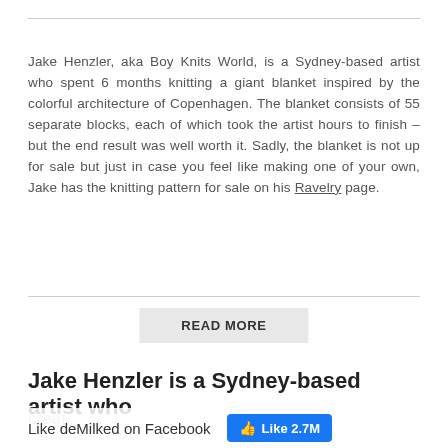Jake Henzler, aka Boy Knits World, is a Sydney-based artist who spent 6 months knitting a giant blanket inspired by the colorful architecture of Copenhagen. The blanket consists of 55 separate blocks, each of which took the artist hours to finish – but the end result was well worth it. Sadly, the blanket is not up for sale but just in case you feel like making one of your own, Jake has the knitting pattern for sale on his Ravelry page.
READ MORE
Jake Henzler is a Sydney-based artist who
Like deMilked on Facebook